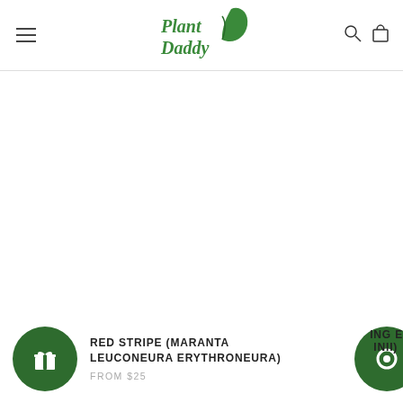[Figure (logo): Plant Daddy logo with green leaf icon and stylized cursive/script green text]
[Figure (illustration): Product thumbnail area (white/empty product image space)]
RED STRIPE (MARANTA LEUCONEURA ERYTHRONEURA)
FROM $25
ING E INII)